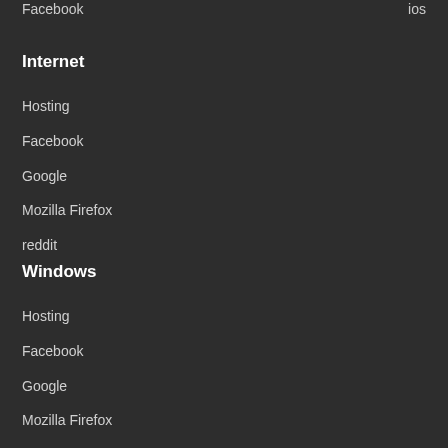Facebook ... ios
Internet
Hosting
Facebook
Google
Mozilla Firefox
reddit
Windows
Hosting
Facebook
Google
Mozilla Firefox